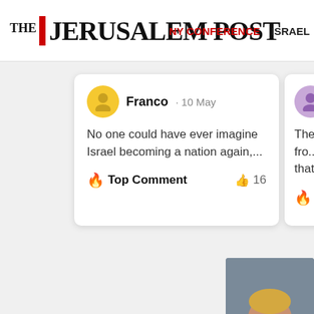THE JERUSALEM POST · NY CONFERENCE · ISRAEL
Franco · 10 May
No one could have ever imagine Israel becoming a nation again,...
🔥 Top Comment   👍 16
LarryGoldst...
The implication fro... seems to be that A...
🔥 Top Comment
[Figure (photo): Photo of a man in a dark suit with red tie raising a fist, partial view]
Should Presid... investigated?
Yes